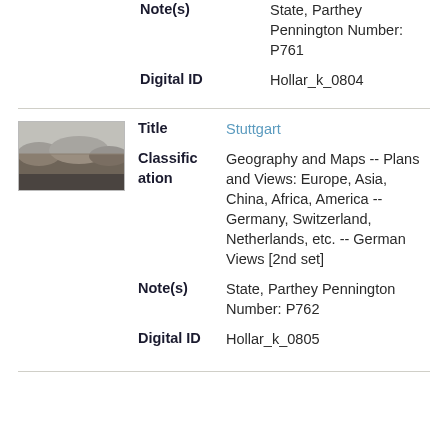Note(s): State, Parthey Pennington Number: P761
Digital ID: Hollar_k_0804
[Figure (photo): Small thumbnail of a landscape etching showing hills or mountains with a wide panoramic view, in dark sepia/gray tones]
Title: Stuttgart
Classification: Geography and Maps -- Plans and Views: Europe, Asia, China, Africa, America -- Germany, Switzerland, Netherlands, etc. -- German Views [2nd set]
Note(s): State, Parthey Pennington Number: P762
Digital ID: Hollar_k_0805